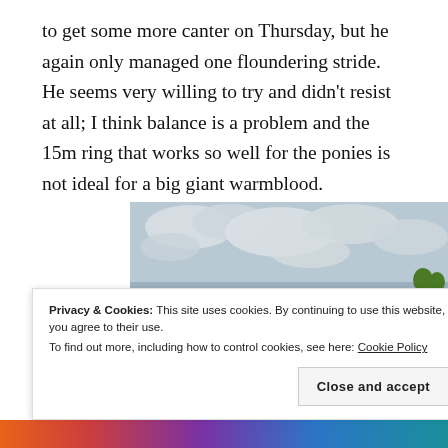to get some more canter on Thursday, but he again only managed one floundering stride. He seems very willing to try and didn't resist at all; I think balance is a problem and the 15m ring that works so well for the ponies is not ideal for a big giant warmblood.
[Figure (photo): A person riding a chestnut horse in an outdoor arena/field with cloudy sky, green grass, and cattle visible in the background.]
Privacy & Cookies: This site uses cookies. By continuing to use this website, you agree to their use.
To find out more, including how to control cookies, see here: Cookie Policy
Close and accept